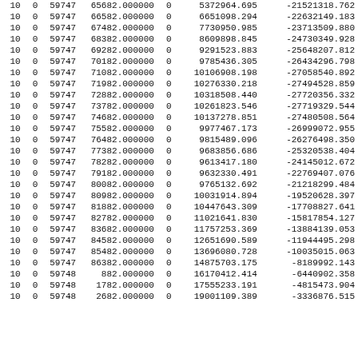| 10 | 0 | 59747 | 65682.000000 | 0 | 5372964.695 | -21521318.762 |
| 10 | 0 | 59747 | 66582.000000 | 0 | 6651098.294 | -22632149.183 |
| 10 | 0 | 59747 | 67482.000000 | 0 | 7730950.985 | -23713509.880 |
| 10 | 0 | 59747 | 68382.000000 | 0 | 8609898.845 | -24730349.928 |
| 10 | 0 | 59747 | 69282.000000 | 0 | 9291523.883 | -25648207.812 |
| 10 | 0 | 59747 | 70182.000000 | 0 | 9785436.305 | -26434296.798 |
| 10 | 0 | 59747 | 71082.000000 | 0 | 10106908.198 | -27058540.892 |
| 10 | 0 | 59747 | 71982.000000 | 0 | 10276330.218 | -27494528.859 |
| 10 | 0 | 59747 | 72882.000000 | 0 | 10318508.440 | -27720356.332 |
| 10 | 0 | 59747 | 73782.000000 | 0 | 10261823.546 | -27719329.544 |
| 10 | 0 | 59747 | 74682.000000 | 0 | 10137278.851 | -27480508.564 |
| 10 | 0 | 59747 | 75582.000000 | 0 | 9977467.173 | -26999072.955 |
| 10 | 0 | 59747 | 76482.000000 | 0 | 9815489.096 | -26276498.350 |
| 10 | 0 | 59747 | 77382.000000 | 0 | 9683856.686 | -25320538.404 |
| 10 | 0 | 59747 | 78282.000000 | 0 | 9613417.180 | -24145012.672 |
| 10 | 0 | 59747 | 79182.000000 | 0 | 9632330.491 | -22769407.076 |
| 10 | 0 | 59747 | 80082.000000 | 0 | 9765132.692 | -21218299.484 |
| 10 | 0 | 59747 | 80982.000000 | 0 | 10031914.894 | -19520628.397 |
| 10 | 0 | 59747 | 81882.000000 | 0 | 10447643.309 | -17708827.641 |
| 10 | 0 | 59747 | 82782.000000 | 0 | 11021641.830 | -15817854.127 |
| 10 | 0 | 59747 | 83682.000000 | 0 | 11757253.369 | -13884139.053 |
| 10 | 0 | 59747 | 84582.000000 | 0 | 12651690.589 | -11944495.298 |
| 10 | 0 | 59747 | 85482.000000 | 0 | 13696080.728 | -10035015.063 |
| 10 | 0 | 59747 | 86382.000000 | 0 | 14875703.175 | -8189992.143 |
| 10 | 0 | 59748 | 882.000000 | 0 | 16170412.414 | -6440902.358 |
| 10 | 0 | 59748 | 1782.000000 | 0 | 17555233.191 | -4815473.904 |
| 10 | 0 | 59748 | 2682.000000 | 0 | 19001109.389 | -3336876.515 |